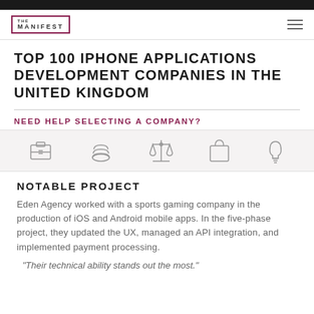THE MANIFEST
TOP 100 IPHONE APPLICATIONS DEVELOPMENT COMPANIES IN THE UNITED KINGDOM
NEED HELP SELECTING A COMPANY?
[Figure (infographic): Five icon symbols in a row: briefcase, coins/money stack, balance scales, shopping bag, lightbulb]
NOTABLE PROJECT
Eden Agency worked with a sports gaming company in the production of iOS and Android mobile apps. In the five-phase project, they updated the UX, managed an API integration, and implemented payment processing.
"Their technical ability stands out the most."